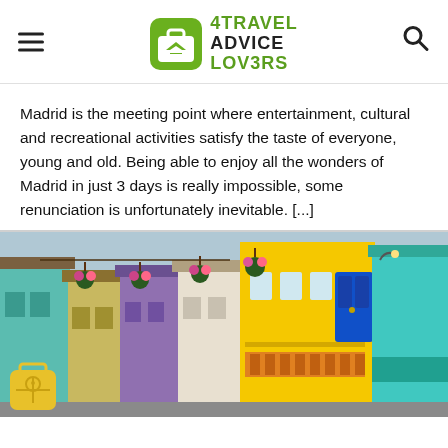4TRAVEL ADVICE LOVERS
Madrid is the meeting point where entertainment, cultural and recreational activities satisfy the taste of everyone, young and old. Being able to enjoy all the wonders of Madrid in just 3 days is really impossible, some renunciation is unfortunately inevitable. [...]
[Figure (photo): Colorful street with painted facades in Latin America, featuring yellow, teal, purple and orange buildings with hanging flower baskets and a blue door. A yellow luggage icon badge appears in the bottom left corner.]